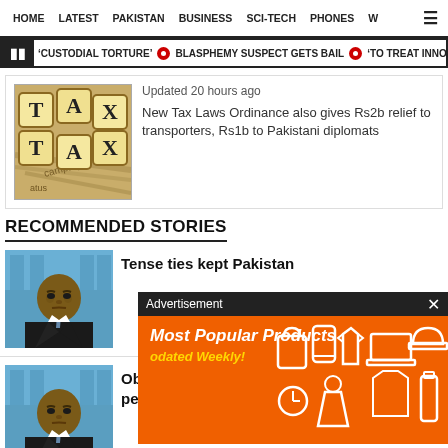HOME  LATEST  PAKISTAN  BUSINESS  SCI-TECH  PHONES  W ☰
'CUSTODIAL TORTURE'  •  BLASPHEMY SUSPECT GETS BAIL  •  'TO TREAT INNO...
[Figure (photo): Photo of TAX letter dice on a document background]
Updated 20 hours ago
New Tax Laws Ordinance also gives Rs2b relief to transporters, Rs1b to Pakistani diplomats
RECOMMENDED STORIES
[Figure (photo): Photo of Obama looking serious, blue background (White House briefing room)]
Tense ties kept Pakistan
[Figure (photo): Photo of Obama looking serious, blue background]
Obama admin seen as sponer in Afghan peace process
[Figure (infographic): Advertisement overlay: Most Popular Products Updated Weekly! on orange background with product icons]